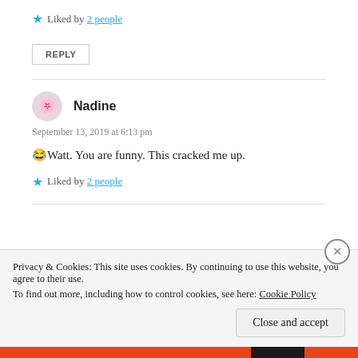★ Liked by 2 people
REPLY
Nadine
September 13, 2019 at 6:13 pm
😂Watt. You are funny. This cracked me up.
★ Liked by 2 people
Privacy & Cookies: This site uses cookies. By continuing to use this website, you agree to their use. To find out more, including how to control cookies, see here: Cookie Policy
Close and accept